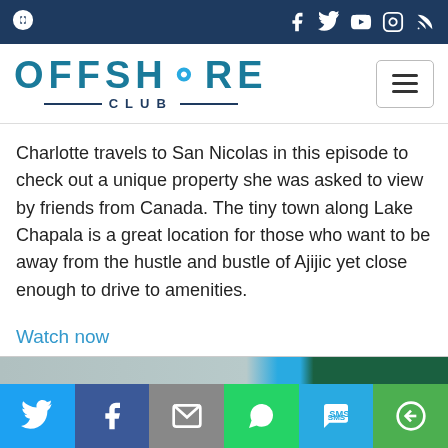Offshore Club - navigation bar with social icons
[Figure (logo): Offshore Club logo with stylized wave O and CLUB text below, with hamburger menu button on right]
Charlotte travels to San Nicolas in this episode to check out a unique property she was asked to view by friends from Canada. The tiny town along Lake Chapala is a great location for those who want to be away from the hustle and bustle of Ajijic yet close enough to drive to amenities.
Watch now
[Figure (photo): Partial view of a property image at Lake Chapala area]
Share buttons: Twitter, Facebook, Email, WhatsApp, SMS, More